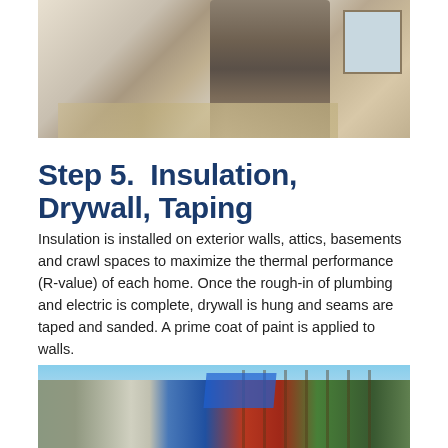[Figure (photo): Interior construction photo showing a room under construction with a stone fireplace, exposed materials, drywall sheets on the floor, and a window on the right]
Step 5.  Insulation, Drywall, Taping
Insulation is installed on exterior walls, attics, basements and crawl spaces to maximize the thermal performance (R-value) of each home. Once the rough-in of plumbing and electric is complete, drywall is hung and seams are taped and sanded. A prime coat of paint is applied to walls.
[Figure (photo): Exterior construction photo showing a multi-story building under construction with scaffolding, blue tarps, red ladders, and green trees in the background]